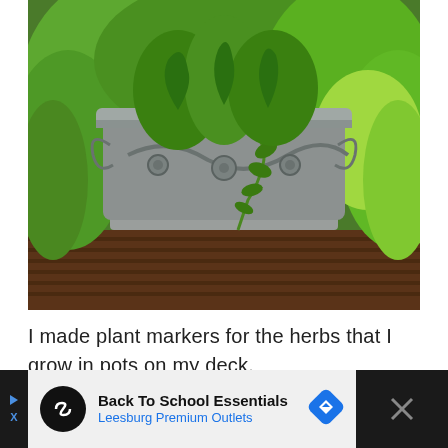[Figure (photo): A decorative gray stone or cement planter pot with floral vine relief carvings, filled with lush green herbs (parsley), sitting on a wooden deck. A small plant marker stick is visible in the top of the pot. Green plants visible in background.]
I made plant markers for the herbs that I grow in pots on my deck.
[Figure (screenshot): Advertisement banner: 'Back To School Essentials - Leesburg Premium Outlets' with a circular black icon showing an infinity-like symbol, a blue navigation/direction arrow icon, and a close button (X) on dark background strips on left and right.]